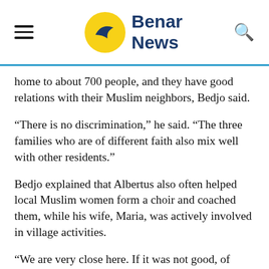Benar News
home to about 700 people, and they have good relations with their Muslim neighbors, Bedjo said.
“There is no discrimination,” he said. “The three families who are of different faith also mix well with other residents.”
Bedjo explained that Albertus also often helped local Muslim women form a choir and coached them, while his wife, Maria, was actively involved in village activities.
“We are very close here. If it was not good, of course we wouldn’t have helped the funeral procession,” he said.
Albertus’ family was also shocked by the controversy,